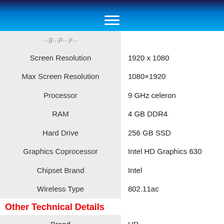≡
| Screen Resolution | 1920 x 1080 |
| Max Screen Resolution | 1080×1920 |
| Processor | 9 GHz celeron |
| RAM | 4 GB DDR4 |
| Hard Drive | 256 GB SSD |
| Graphics Coprocessor | Intel HD Graphics 630 |
| Chipset Brand | Intel |
| Wireless Type | 802.11ac |
Other Technical Details
| Brand | HP |
| Series | 22-df0013w |
| Hardware Platform | Windows 10 |
| Operating System | Windows 10 |
| Item Weight | 1 pounds |